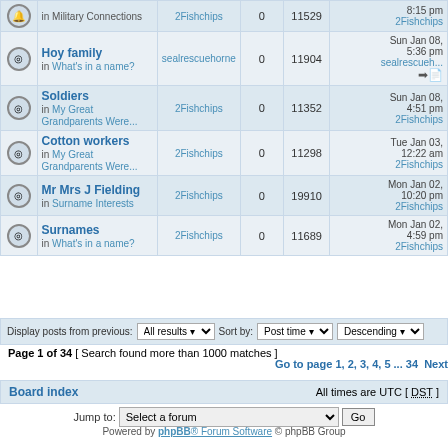|  | Topic | Author | Replies | Views | Last post |
| --- | --- | --- | --- | --- | --- |
| [icon] | Hoy family in What's in a name? | sealrescuehorne | 0 | 11904 | Sun Jan 08, 5:36 pm sealrescueh... |
| [icon] | Soldiers in My Great Grandparents Were... | 2Fishchips | 0 | 11352 | Sun Jan 08, 4:51 pm 2Fishchips |
| [icon] | Cotton workers in My Great Grandparents Were... | 2Fishchips | 0 | 11298 | Tue Jan 03, 12:22 am 2Fishchips |
| [icon] | Mr Mrs J Fielding in Surname Interests | 2Fishchips | 0 | 19910 | Mon Jan 02, 10:20 pm 2Fishchips |
| [icon] | Surnames in What's in a name? | 2Fishchips | 0 | 11689 | Mon Jan 02, 4:59 pm 2Fishchips |
Display posts from previous: All results | Sort by: Post time | Descending
Page 1 of 34 [ Search found more than 1000 matches ]
Go to page 1, 2, 3, 4, 5 ... 34 Next
Board index — All times are UTC [ DST ]
Jump to: Select a forum — Go
Powered by phpBB® Forum Software © phpBB Group